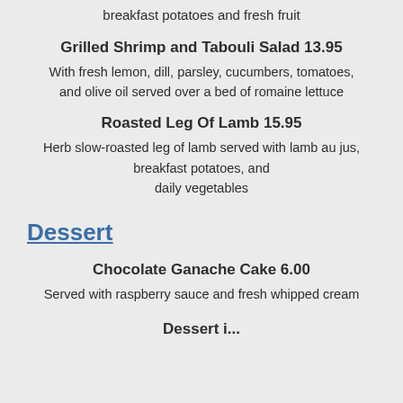breakfast potatoes and fresh fruit
Grilled Shrimp and Tabouli Salad 13.95
With fresh lemon, dill, parsley, cucumbers, tomatoes, and olive oil served over a bed of romaine lettuce
Roasted Leg Of Lamb 15.95
Herb slow-roasted leg of lamb served with lamb au jus, breakfast potatoes, and daily vegetables
Dessert
Chocolate Ganache Cake 6.00
Served with raspberry sauce and fresh whipped cream
Dessert item continued...